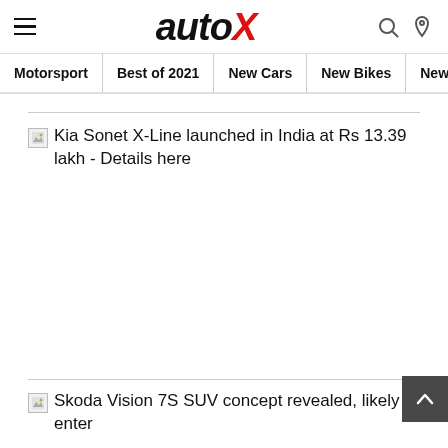autoX
Motorsport | Best of 2021 | New Cars | New Bikes | New Scoo
Kia Sonet X-Line launched in India at Rs 13.39 lakh - Details here
Skoda Vision 7S SUV concept revealed, likely to enter